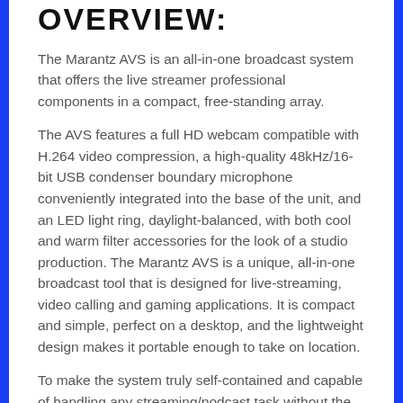OVERVIEW:
The Marantz AVS is an all-in-one broadcast system that offers the live streamer professional components in a compact, free-standing array.
The AVS features a full HD webcam compatible with H.264 video compression, a high-quality 48kHz/16-bit USB condenser boundary microphone conveniently integrated into the base of the unit, and an LED light ring, daylight-balanced, with both cool and warm filter accessories for the look of a studio production. The Marantz AVS is a unique, all-in-one broadcast tool that is designed for live-streaming, video calling and gaming applications. It is compact and simple, perfect on a desktop, and the lightweight design makes it portable enough to take on location.
To make the system truly self-contained and capable of handling any streaming/podcast task without the need